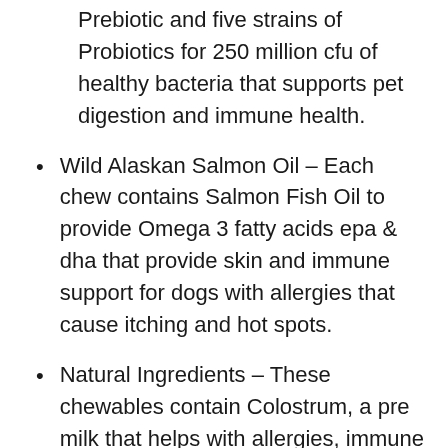Prebiotic and five strains of Probiotics for 250 million cfu of healthy bacteria that supports pet digestion and immune health.
Wild Alaskan Salmon Oil – Each chew contains Salmon Fish Oil to provide Omega 3 fatty acids epa & dha that provide skin and immune support for dogs with allergies that cause itching and hot spots.
Natural Ingredients – These chewables contain Colostrum, a pre milk that helps with allergies, immune function, and digestion, plus Apple Cider Vinegar and Organic Licorice Root for additional care.